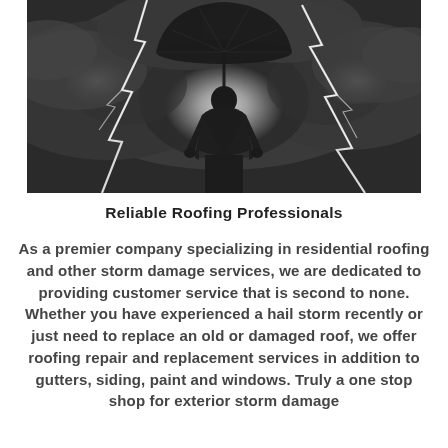[Figure (photo): Black and white photo of a person in a business suit viewed from behind, holding a large dark umbrella, standing against a dramatic stormy sky with lightning bolts on both sides and glowing clouds behind them.]
Reliable Roofing Professionals
As a premier company specializing in residential roofing and other storm damage services, we are dedicated to providing customer service that is second to none. Whether you have experienced a hail storm recently or just need to replace an old or damaged roof, we offer roofing repair and replacement services in addition to gutters, siding, paint and windows. Truly a one stop shop for exterior storm damage